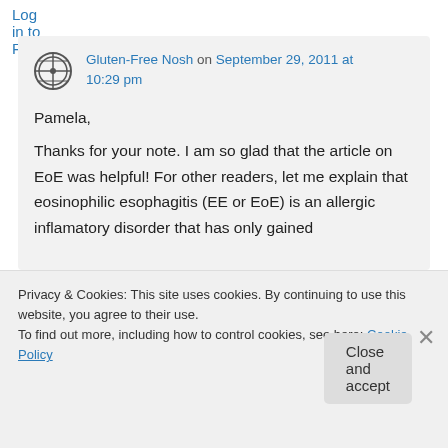Log in to Reply
Gluten-Free Nosh on September 29, 2011 at 10:29 pm
Pamela,
Thanks for your note. I am so glad that the article on EoE was helpful! For other readers, let me explain that eosinophilic esophagitis (EE or EoE) is an allergic inflamatory disorder that has only gained
Privacy & Cookies: This site uses cookies. By continuing to use this website, you agree to their use.
To find out more, including how to control cookies, see here: Cookie Policy
Close and accept